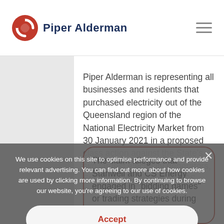Piper Alderman
Piper Alderman is representing all businesses and residents that purchased electricity out of the Queensland region of the National Electricity Market from 30 January 2021 in a proposed class action against the State's two largest electricity generators, Stanwell Corporation and CS Energy.
We use cookies on this site to optimise performance and provide relevant advertising. You can find out more about how cookies are used by clicking more information. By continuing to browse our website, you're agreeing to our use of cookies.
Accept
Privacy policy
The claim alleges that Stanwell and CS Energy engaged in "bidding games" or trading strategies during the relevant